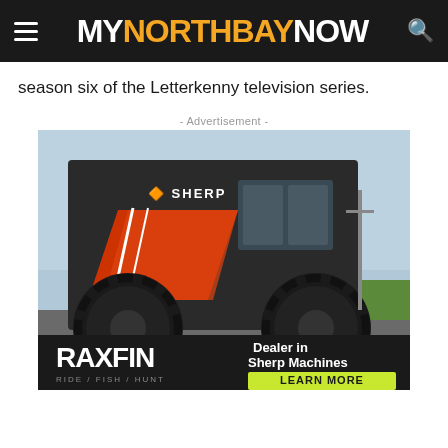MY NORTH BAY NOW
season six of the Letterkenny television series.
- Advertisement -
[Figure (photo): Advertisement for RAXFIN (Ride / Fish / Hunt) showing a large black SHERP off-road amphibious vehicle with massive tires, orange and red graphics, with text 'Dealer in Sherp Machines' and 'LEARN MORE' button in yellow-green.]